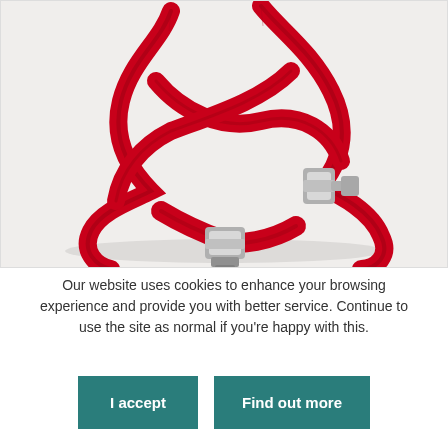[Figure (photo): A red nylon lanyard with silver metal clips/clasps coiled on a white background.]
Our website uses cookies to enhance your browsing experience and provide you with better service. Continue to use the site as normal if you're happy with this.
I accept
Find out more